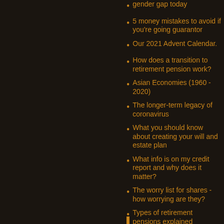gender gap today
5 money mistakes to avoid if you're going guarantor
Our 2021 Advent Calendar.
How does a transition to retirement pension work?
Asian Economies (1960 - 2020)
The longer-term legacy of coronavirus
What you should know about creating your will and estate plan
What info is on my credit report and why does it matter?
The worry list for shares - how worrying are they?
Types of retirement pensions explained